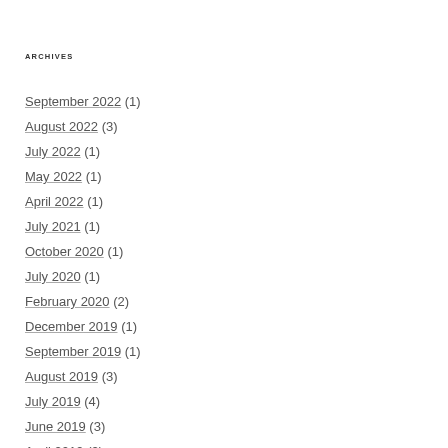ARCHIVES
September 2022 (1)
August 2022 (3)
July 2022 (1)
May 2022 (1)
April 2022 (1)
July 2021 (1)
October 2020 (1)
July 2020 (1)
February 2020 (2)
December 2019 (1)
September 2019 (1)
August 2019 (3)
July 2019 (4)
June 2019 (3)
April 2019 (2)